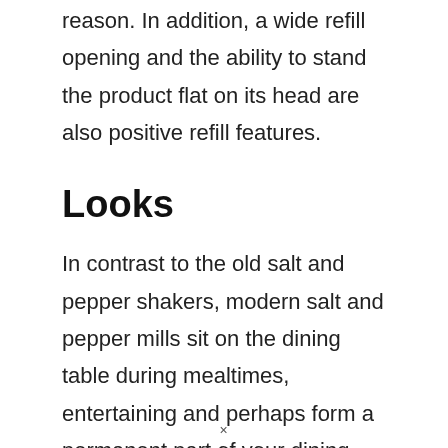reason. In addition, a wide refill opening and the ability to stand the product flat on its head are also positive refill features.
Looks
In contrast to the old salt and pepper shakers, modern salt and pepper mills sit on the dining table during mealtimes, entertaining and perhaps form a permanent part of your dining room decor. For this
×